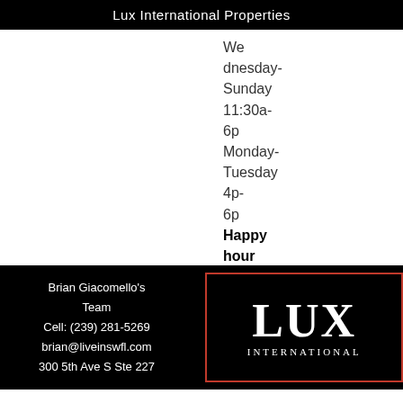Lux International Properties
Wednesday-Sunday 11:30a-6p Monday-Tuesday 4p-6p Happy hour at the bar
Brian Giacomello's Team
Cell: (239) 281-5269
brian@liveinswfl.com
300 5th Ave S Ste 227
[Figure (logo): Lux International logo with red border, large LUX text and INTERNATIONAL below]